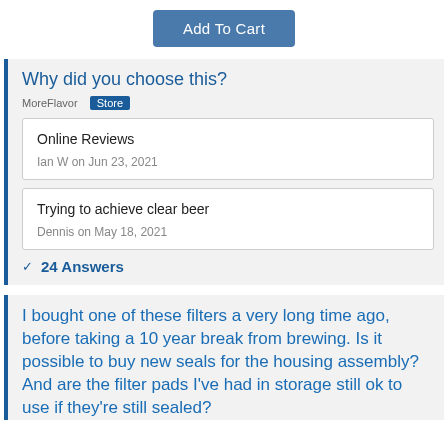Add To Cart
Why did you choose this?
MoreFlavor Store
Online Reviews
Ian W on Jun 23, 2021
Trying to achieve clear beer
Dennis on May 18, 2021
24 Answers
I bought one of these filters a very long time ago, before taking a 10 year break from brewing. Is it possible to buy new seals for the housing assembly?
And are the filter pads I've had in storage still ok to use if they're still sealed?